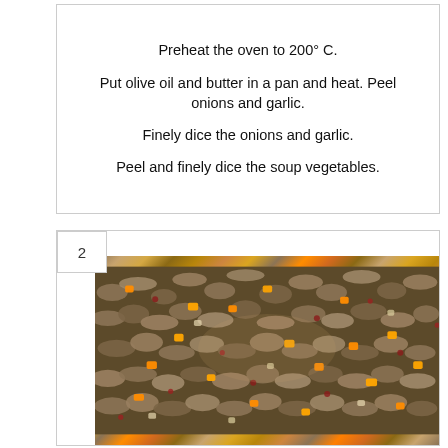Preheat the oven to 200° C.
Put olive oil and butter in a pan and heat. Peel onions and garlic.
Finely dice the onions and garlic.
Peel and finely dice the soup vegetables.
[Figure (photo): Close-up photo of ground meat cooking in a pan with diced carrots, onions, and other vegetables mixed in.]